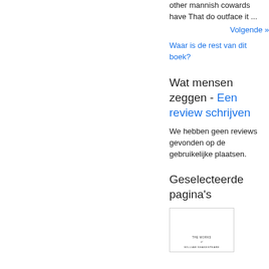other mannish cowards have That do outface it ...
Volgende »
Waar is de rest van dit boek?
Wat mensen zeggen - Een review schrijven
We hebben geen reviews gevonden op de gebruikelijke plaatsen.
Geselecteerde pagina's
[Figure (illustration): Thumbnail image of a book title page showing 'THE WORKS OF WILLIAM SHAKESPEARE']